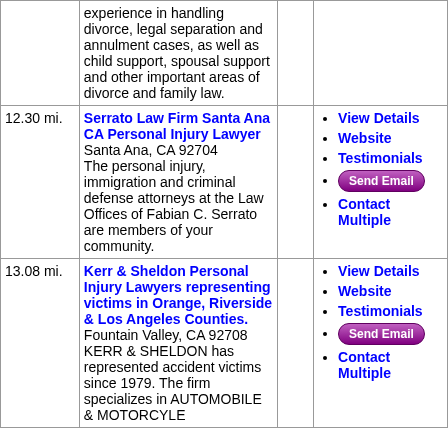| Distance | Firm Info | Rating | Actions |
| --- | --- | --- | --- |
|  | experience in handling divorce, legal separation and annulment cases, as well as child support, spousal support and other important areas of divorce and family law. |  |  |
| 12.30 mi. | Serrato Law Firm Santa Ana CA Personal Injury Lawyer
Santa Ana, CA 92704
The personal injury, immigration and criminal defense attorneys at the Law Offices of Fabian C. Serrato are members of your community. |  | View Details
Website
Testimonials
Send Email
Contact Multiple |
| 13.08 mi. | Kerr & Sheldon Personal Injury Lawyers representing victims in Orange, Riverside & Los Angeles Counties.
Fountain Valley, CA 92708
KERR & SHELDON has represented accident victims since 1979. The firm specializes in AUTOMOBILE & MOTORCYLE |  | View Details
Website
Testimonials
Send Email
Contact Multiple |